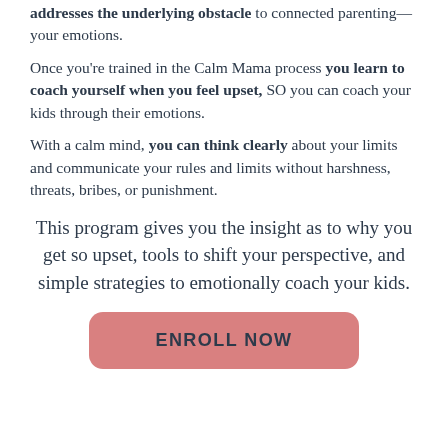addresses the underlying obstacle to connected parenting—your emotions.
Once you're trained in the Calm Mama process you learn to coach yourself when you feel upset, SO you can coach your kids through their emotions.
With a calm mind, you can think clearly about your limits and communicate your rules and limits without harshness, threats, bribes, or punishment.
This program gives you the insight as to why you get so upset, tools to shift your perspective, and simple strategies to emotionally coach your kids.
ENROLL NOW